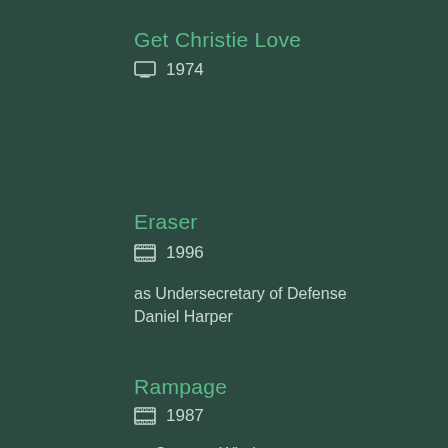Get Christie Love
📺 1974
Eraser
🎬 1996
as Undersecretary of Defense Daniel Harper
Rampage
🎬 1987
as Spencer Whalen